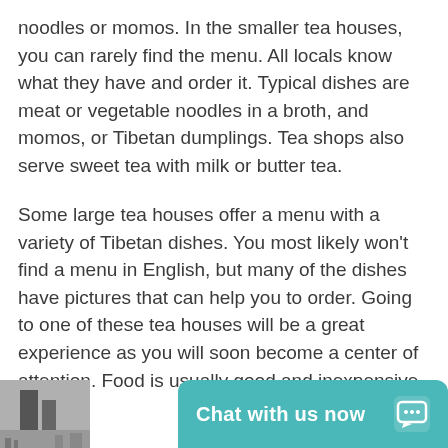noodles or momos. In the smaller tea houses, you can rarely find the menu. All locals know what they have and order it. Typical dishes are meat or vegetable noodles in a broth, and momos, or Tibetan dumplings. Tea shops also serve sweet tea with milk or butter tea.
Some large tea houses offer a menu with a variety of Tibetan dishes. You most likely won't find a menu in English, but many of the dishes have pictures that can help you to order. Going to one of these tea houses will be a great experience as you will soon become a center of attention. Food is usually good and inexpensive.
[Figure (photo): Partial grayscale photo visible at bottom left corner, appears to show buildings or structures]
Chat with us now